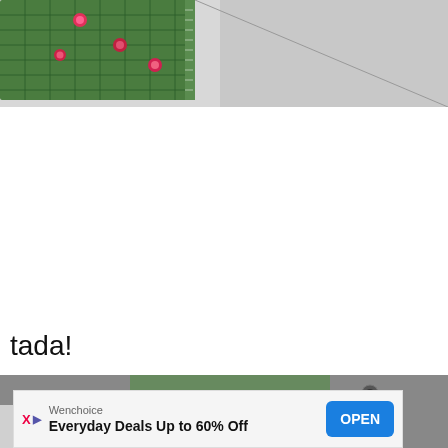[Figure (photo): Top portion of a photo showing a green ruler/set square on graph paper with pink/red pin markers, lying on a light gray surface. Photo is cropped at top.]
tada!
[Figure (photo): Bottom portion of a webpage showing the start of another photo with a green ruler and gray background, partially obscured by an advertisement banner.]
[Figure (other): Advertisement banner: Wenchoice brand, text 'Everyday Deals Up to 60% Off', blue OPEN button, with X and play icons on left.]